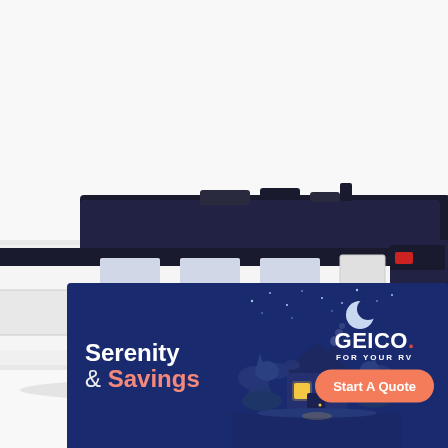[Figure (photo): White and dark navy RV motorhome photographed from rear three-quarter angle against a white background, partially cropped, occupying the upper and middle portion of the page.]
[Figure (illustration): GEICO RV insurance advertisement banner with dark navy blue background. Left side shows bold white text 'Serenity & Savings' with '& Savings' in coral/salmon color. Center shows a glowing illustrated scene of a cozy cabin/house at night with moon and stars, trees and foliage in blue tones. Right side shows GEICO logo in white with red period and 'FOR YOUR RV' text below, plus a coral 'Start A Quote' button.]